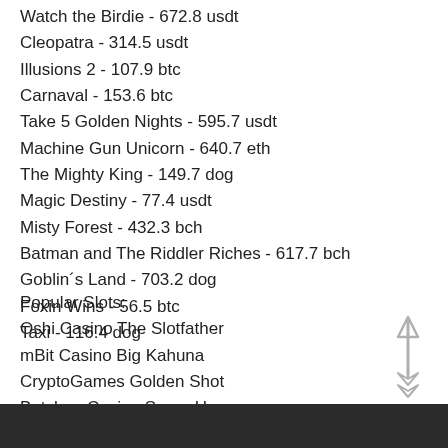Watch the Birdie - 672.8 usdt
Cleopatra - 314.5 usdt
Illusions 2 - 107.9 btc
Carnaval - 153.6 btc
Take 5 Golden Nights - 595.7 usdt
Machine Gun Unicorn - 640.7 eth
The Mighty King - 149.7 dog
Magic Destiny - 77.4 usdt
Misty Forest - 432.3 bch
Batman and The Riddler Riches - 617.7 bch
Goblin´s Land - 703.2 dog
Foxin Wins - 56.5 btc
Taxi - 116.4 dog
Popular Slots:
Oshi Casino The Slotfather
mBit Casino Big Kahuna
CryptoGames Golden Shot
Betchan Casino Super Heroes
22Bet Casino Wicked Circus
Bitcasino.io Moo…